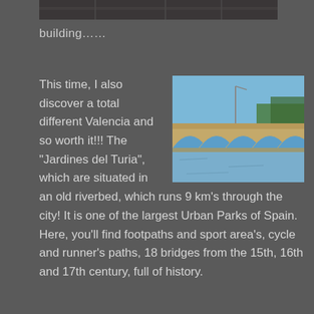[Figure (photo): Partial view of a building at the top of the page (cropped)]
building……
[Figure (photo): Photo of Jardines del Turia bridge with stone arches reflected in the water, blue sky in background]
This time, I also discover a total different Valencia and so worth it!!! The "Jardines del Turia", which are situated in an old riverbed, which runs 9 km's through the city! It is one of the largest Urban Parks of Spain. Here, you'll find footpaths and sport area's, cycle and runner's paths, 18 bridges from the 15th, 16th and 17th century, full of history.